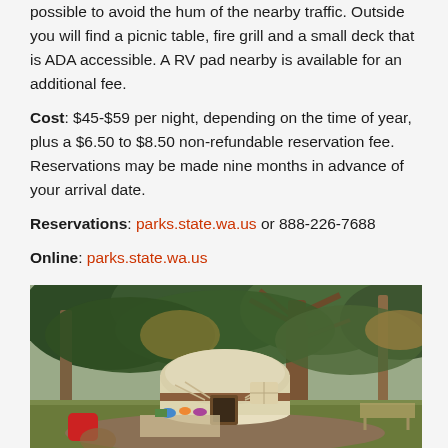possible to avoid the hum of the nearby traffic. Outside you will find a picnic table, fire grill and a small deck that is ADA accessible. A RV pad nearby is available for an additional fee.
Cost: $45-$59 per night, depending on the time of year, plus a $6.50 to $8.50 non-refundable reservation fee. Reservations may be made nine months in advance of your arrival date.
Reservations: parks.state.wa.us or 888-226-7688
Online: parks.state.wa.us
[Figure (photo): Outdoor photo of a yurt camping site surrounded by tall trees. A round white yurt with a brown trim band is visible in the background under a large tree. In the foreground there is a grassy area with a picnic table covered with camping gear, food items, and colorful objects including a red object on the left.]